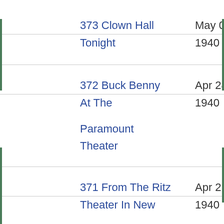| 373 Clown Hall | May 05, | 6.49 M |
| Tonight | 1940 |  |
| 372 Buck Benny | Apr 28, | 6.49 M |
| At The | 1940 |  |
| Paramount |  |  |
| Theater |  |  |
| 371 From The Ritz | Apr 21, | 4.74 M |
| Theater In New | 1940 |  |